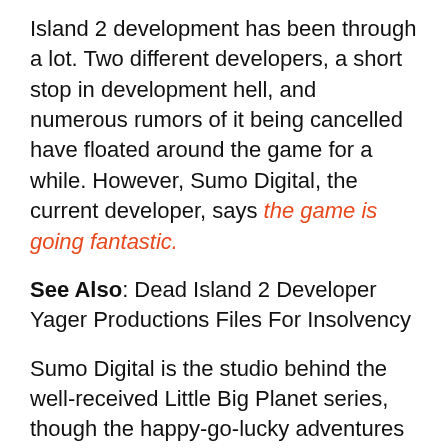Island 2 development has been through a lot. Two different developers, a short stop in development hell, and numerous rumors of it being cancelled have floated around the game for a while. However, Sumo Digital, the current developer, says the game is going fantastic.
See Also: Dead Island 2 Developer Yager Productions Files For Insolvency
Sumo Digital is the studio behind the well-received Little Big Planet series, though the happy-go-lucky adventures of Sackboy and his friends is completely different from the rather dark, zombie-infested world of Dead Island.